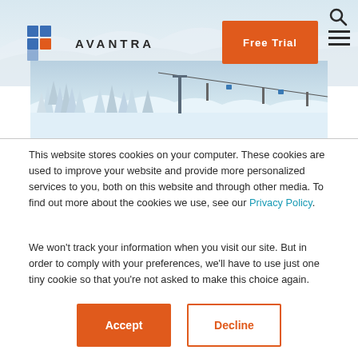[Figure (logo): Avantra logo with blue and orange square grid icon and AVANTRA text]
[Figure (photo): Winter ski resort landscape showing snow-covered trees and a ski lift cable line on a slope]
This website stores cookies on your computer. These cookies are used to improve your website and provide more personalized services to you, both on this website and through other media. To find out more about the cookies we use, see our Privacy Policy.
We won't track your information when you visit our site. But in order to comply with your preferences, we'll have to use just one tiny cookie so that you're not asked to make this choice again.